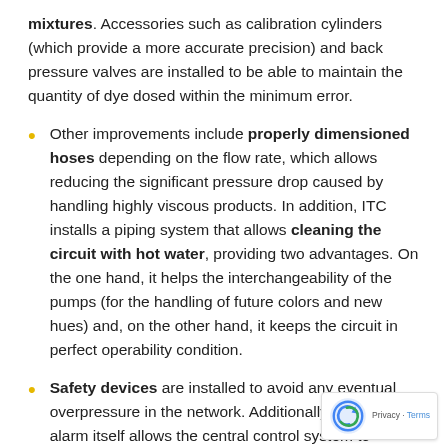mixtures. Accessories such as calibration cylinders (which provide a more accurate precision) and back pressure valves are installed to be able to maintain the quantity of dye dosed within the minimum error.
Other improvements include properly dimensioned hoses depending on the flow rate, which allows reducing the significant pressure drop caused by handling highly viscous products. In addition, ITC installs a piping system that allows cleaning the circuit with hot water, providing two advantages. On the one hand, it helps the interchangeability of the pumps (for the handling of future colors and new hues) and, on the other hand, it keeps the circuit in perfect operability condition.
Safety devices are installed to avoid any eventual overpressure in the network. Additionally, the pump alarm itself allows the central control system to receive warnings in the event of any discharge failure.